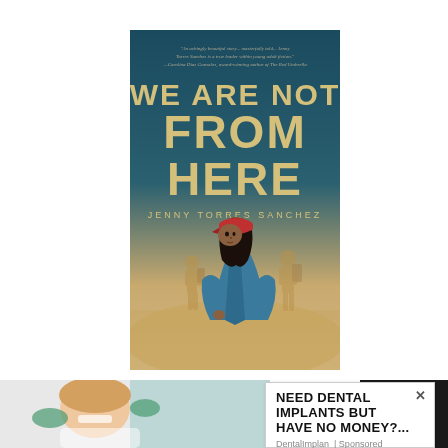[Figure (illustration): Book cover of 'We Are Not From Here' by Jenny Torres Sanchez. Teal/dark blue background at top with blurb text in small italic font, large bold title text 'WE ARE NOT FROM HERE' in gold/cream letters, author name 'JENNY TORRES SANCHEZ' below title, and illustration of a young person in a red cap and blue jacket looking back, with two silhouetted figures walking in a desert landscape behind.]
WE ARE NOT FROM HERE BY JENNY TORRES
[Figure (photo): Partial photo of a smiling woman in a dental chair with green-gloved hands near her face, visible at bottom left.]
NEED DENTAL IMPLANTS BUT HAVE NO MONEY?...
DentalImplan | Sponsored